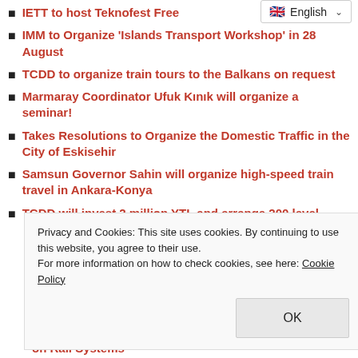IETT to host Teknofest Free
IMM to Organize 'Islands Transport Workshop' in 28 August
TCDD to organize train tours to the Balkans on request
Marmaray Coordinator Ufuk Kınık will organize a seminar!
Takes Resolutions to Organize the Domestic Traffic in the City of Eskisehir
Samsun Governor Sahin will organize high-speed train travel in Ankara-Konya
TCDD will invest 2 million YTL and arrange 200 level
Privacy and Cookies: This site uses cookies. By continuing to use this website, you agree to their use.
For more information on how to check cookies, see here: Cookie Policy
on Rail Systems